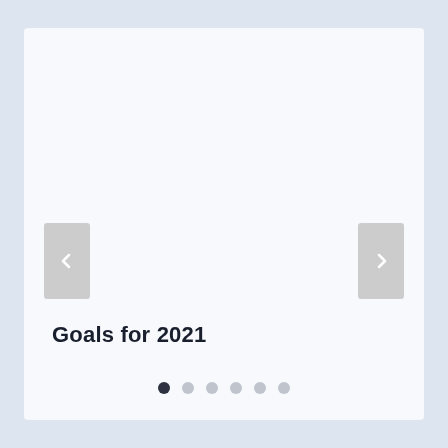[Figure (screenshot): A slideshow/carousel UI component with a white card area, left and right navigation arrow buttons (gray rectangles with chevron icons), a title 'Goals for 2021' at the bottom left of the card, and six pagination dots at the bottom center (first dot is dark/active, remaining five are light gray).]
Goals for 2021